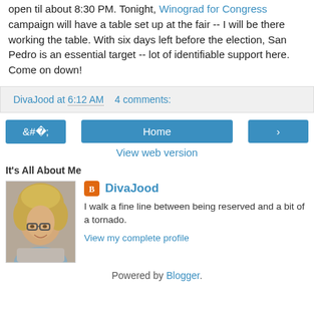open til about 8:30 PM. Tonight, Winograd for Congress campaign will have a table set up at the fair -- I will be there working the table. With six days left before the election, San Pedro is an essential target -- lot of identifiable support here. Come on down!
DivaJood at 6:12 AM   4 comments:
◄   Home   ►
View web version
It's All About Me
[Figure (photo): Profile photo of DivaJood, a woman with curly blonde hair and glasses]
DivaJood
I walk a fine line between being reserved and a bit of a tornado.
View my complete profile
Powered by Blogger.